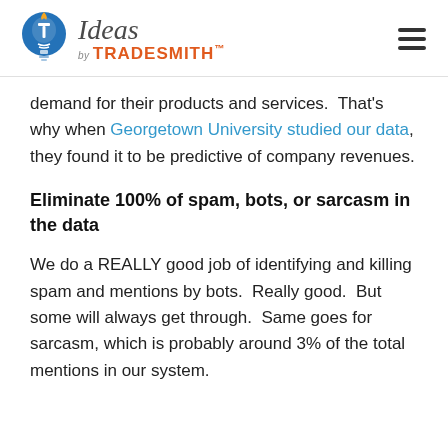Ideas by TradeSmith
demand for their products and services. That's why when Georgetown University studied our data, they found it to be predictive of company revenues.
Eliminate 100% of spam, bots, or sarcasm in the data
We do a REALLY good job of identifying and killing spam and mentions by bots. Really good. But some will always get through. Same goes for sarcasm, which is probably around 3% of the total mentions in our system.